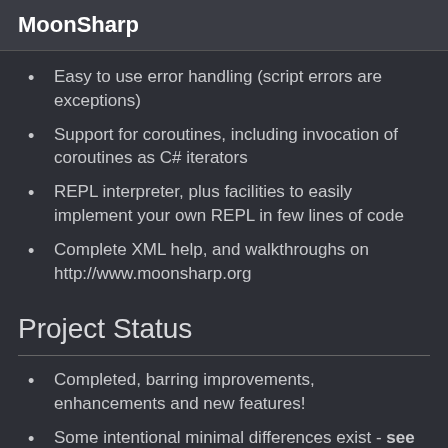MoonSharp
Easy to use error handling (script errors are exceptions)
Support for coroutines, including invocation of coroutines as C# iterators
REPL interpreter, plus facilities to easily implement your own REPL in few lines of code
Complete XML help, and walkthroughs on http://www.moonsharp.org
Project Status
Completed, barring improvements, enhancements and new features!
Some intentional minimal differences exist - see here
All Lua 5.2 language constructs are implemented,